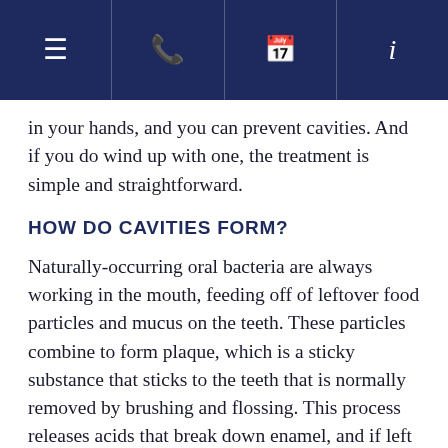≡  ✆  📅  i
in your hands, and you can prevent cavities. And if you do wind up with one, the treatment is simple and straightforward.
HOW DO CAVITIES FORM?
Naturally-occurring oral bacteria are always working in the mouth, feeding off of leftover food particles and mucus on the teeth. These particles combine to form plaque, which is a sticky substance that sticks to the teeth that is normally removed by brushing and flossing. This process releases acids that break down enamel, and if left too long, they will create small holes in the enamel.
The enamel is said to regenerate, meaning that